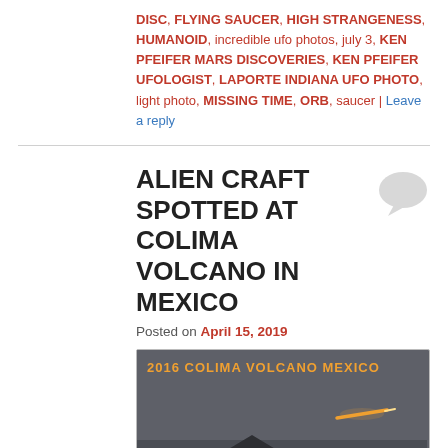DISC, FLYING SAUCER, HIGH STRANGENESS, HUMANOID, incredible ufo photos, july 3, KEN PFEIFER MARS DISCOVERIES, KEN PFEIFER UFOLOGIST, LAPORTE INDIANA UFO PHOTO, light photo, MISSING TIME, ORB, saucer | Leave a reply
ALIEN CRAFT SPOTTED AT COLIMA VOLCANO IN MEXICO
Posted on April 15, 2019
[Figure (photo): Dark photo of Colima Volcano Mexico 2016 with an orange glowing object/light streak in the sky above the volcano silhouette. Orange text at top reads '2016 COLIMA VOLCANO MEXICO'.]